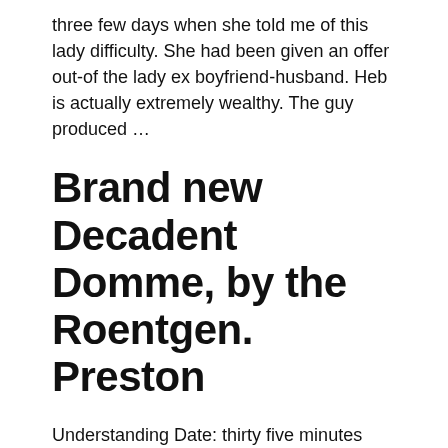three few days when she told me of this lady difficulty. She had been given an offer out-of the lady ex boyfriend-husband. Heb is actually extremely wealthy. The guy produced …
Brand new Decadent Domme, by the Roentgen. Preston
Understanding Date: thirty five minutes The newest planning to start my absolutely nothing facts by the admitting things; I'm sure that i have always been a horrible Mistress. I never ever attempt to cover up they, and you may none are …